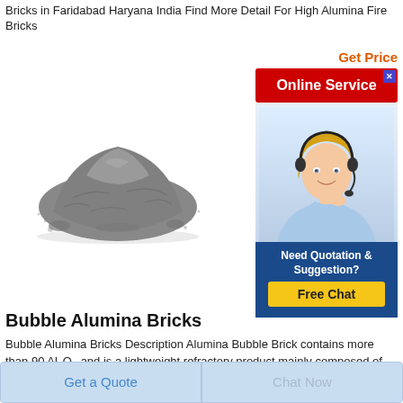Bricks in Faridabad Haryana India Find More Detail For High Alumina Fire Bricks
[Figure (photo): Pile of grey bubble alumina powder/material on white background]
Get Price
[Figure (infographic): Red Online Service button with close X icon, followed by photo of blonde female customer service agent with headset, followed by dark blue box saying Need Quotation & Suggestion? with yellow Free Chat button]
Bubble Alumina Bricks
Bubble Alumina Bricks Description Alumina Bubble Brick contains more than 90 Al2O3 and is a lightweight refractory product mainly composed of corundum Al2O3 and the appropriate amount of clay and bonding agent are used as raw materials and gas blowing agents are used in the preparation stage The product has good
Get a Quote
Chat Now